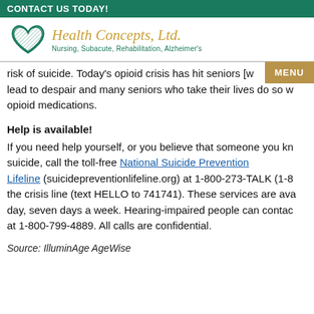CONTACT US TODAY!
[Figure (logo): Health Concepts, Ltd. logo with heart icon. Tagline: Nursing, Subacute, Rehabilitation, Alzheimer's]
risk of suicide. Today's opioid crisis has hit seniors [w...] lead to despair and many seniors who take their lives do so w[ith] opioid medications.
Help is available!
If you need help yourself, or you believe that someone you kn[ow is at risk of] suicide, call the toll-free National Suicide Prevention Lifeline (suicidepreventionlifeline.org) at 1-800-273-TALK (1-8[00-273-8255]) or the crisis line (text HELLO to 741741). These services are ava[ilable 24 hours a] day, seven days a week. Hearing-impaired people can contac[t the Lifeline] at 1-800-799-4889. All calls are confidential.
Source: IlluminAge AgeWise